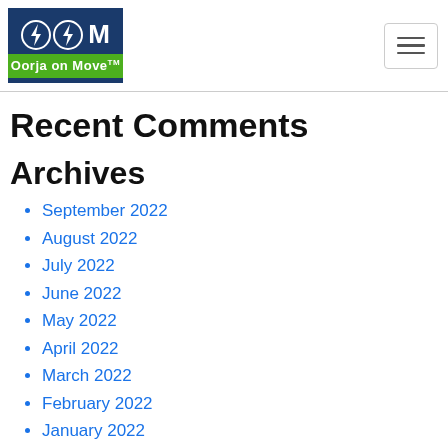Oorja on Move logo and navigation menu
Recent Comments
Archives
September 2022
August 2022
July 2022
June 2022
May 2022
April 2022
March 2022
February 2022
January 2022
December 2021
November 2021